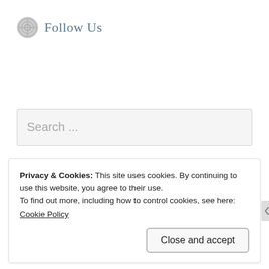Follow Us
Search ...
[Figure (illustration): Three badges: NetGalley Member Professional Reader badge (green circular logo), a blue circular reviewer badge with stars, and a hexagonal '25 Reviews' badge]
Privacy & Cookies: This site uses cookies. By continuing to use this website, you agree to their use.
To find out more, including how to control cookies, see here: Cookie Policy
Close and accept